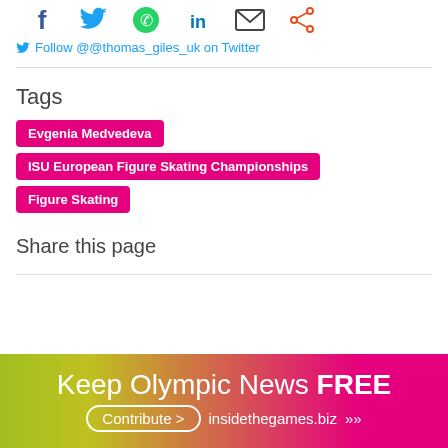[Figure (infographic): Social media share icons row: Facebook (blue f), Twitter (blue bird), WhatsApp (green phone), LinkedIn (blue in), Email (envelope), Share (orange nodes)]
Follow @@thomas_giles_uk on Twitter
Tags
Evgenia Medvedeva
ISU European Figure Skating Championships
Figure Skating
Share this page
[Figure (infographic): Promotional banner with gradient background (green to pink). Text: Keep Olympic News FREE. Contribute button and insidethegames.biz URL with chevrons.]